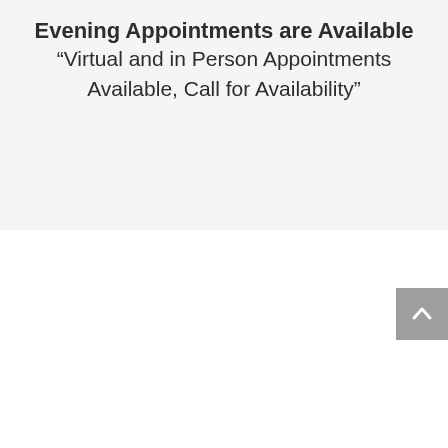Evening Appointments are Available
“Virtual and in Person Appointments Available, Call for Availability”
[Figure (other): Scroll-to-top button with upward-pointing chevron arrow, gray background]